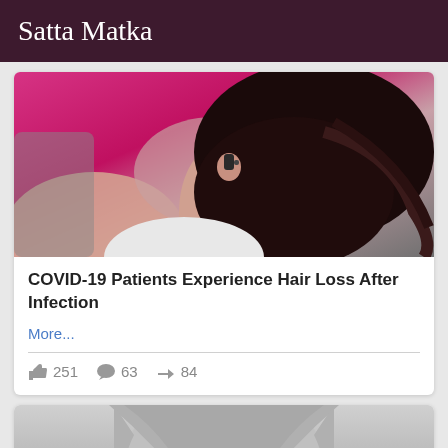Satta Matka
[Figure (photo): Close-up photo of a woman with dark hair in a ponytail, pink/magenta background, back of head visible showing hearing device]
COVID-19 Patients Experience Hair Loss After Infection
More...
251  63  84
[Figure (photo): Black and white close-up photo of a young child's face with bangs, looking at camera]